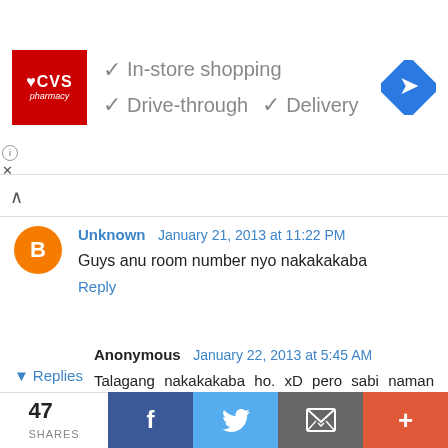[Figure (screenshot): CVS Pharmacy advertisement banner showing In-store shopping, Drive-through, and Delivery options with checkmarks, and a navigation/directions icon]
Unknown January 21, 2013 at 11:22 PM
Guys anu room number nyo nakakakaba
Reply
Anonymous January 22, 2013 at 5:45 AM
Talagang nakakakaba ho. xD pero sabi naman nung mga nag exam last year eh madali lang naman daw po.. Talagang kelangan ko pumasa sa Pup kasi un Ing ang kukuhanan ko ng exam.
Reply
▼ Replies
47 SHARES